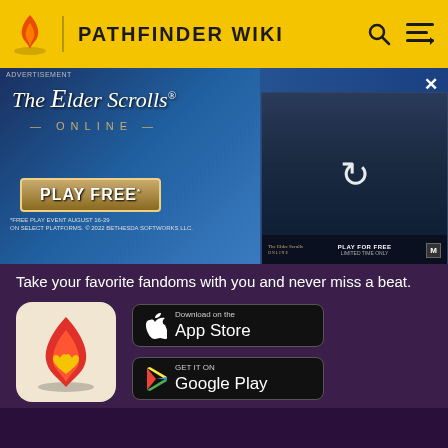PATHFINDER WIKI
[Figure (screenshot): The Elder Scrolls Online advertisement banner with 'PLAY FREE' text and a second panel showing a game scene with a refresh/reload icon and 'PLAY FOR FREE LIMITED TIME ONLY' text]
Take your favorite fandoms with you and never miss a beat.
[Figure (logo): Fandom app icon - red flame with heart on beige background]
[Figure (screenshot): Download on the App Store button]
[Figure (screenshot): GET IT ON Google Play button]
Pathfinder Wiki is a FANDOM Games Community.
VIEW FULL SITE